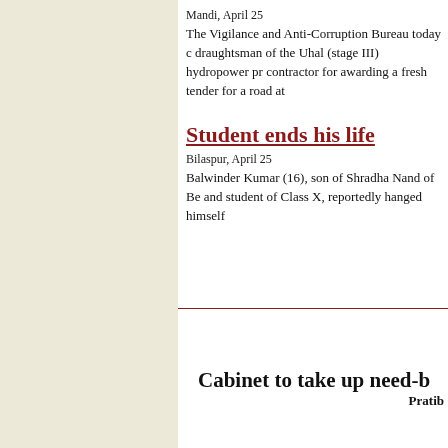Mandi, April 25
The Vigilance and Anti-Corruption Bureau today c draughtsman of the Uhal (stage III) hydropower pr contractor for awarding a fresh tender for a road at
Student ends his life
Bilaspur, April 25
Balwinder Kumar (16), son of Shradha Nand of Be and student of Class X, reportedly hanged himself
Cabinet to take up need-b
Pratib